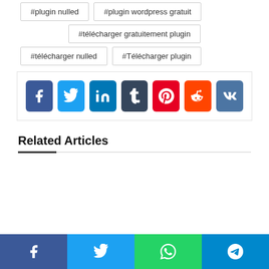#plugin nulled
#plugin wordpress gratuit
#télécharger gratuitement plugin
#télécharger nulled
#Télécharger plugin
[Figure (infographic): Social share buttons: Facebook (blue), Twitter (light blue), LinkedIn (dark blue), Tumblr (dark navy), Pinterest (red), Reddit (orange-red), VK (steel blue)]
Related Articles
[Figure (infographic): Bottom share bar with four sections: Facebook (blue), Twitter (light blue), WhatsApp (green), Telegram (dark blue)]